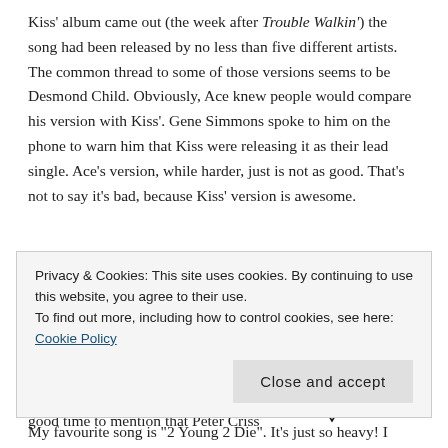Kiss' album came out (the week after Trouble Walkin') the song had been released by no less than five different artists.  The common thread to some of those versions seems to be Desmond Child.  Obviously, Ace knew people would compare his version with Kiss'.  Gene Simmons spoke to him on the phone to warn him that Kiss were releasing it as their lead single.  Ace's version, while harder, just is not as good.  That's not to say it's bad, because Kiss' version is awesome.
“Lost In Limbo”, a Richie Scarlet co-write, closed side one on a pedestrian note.  Side two began with a better song, the title track.  This would be a good time to mention that Peter Criss
[Figure (photo): Handwritten note reading: Dear Peter, "Thanks a million for everything. You're still the greatest!!" Love, Ace (with signature and doodle)]
Privacy & Cookies: This site uses cookies. By continuing to use this website, you agree to their use.
To find out more, including how to control cookies, see here: Cookie Policy
My favourite song is "2 Young 2 Die".  It's just so heavy!  I used to